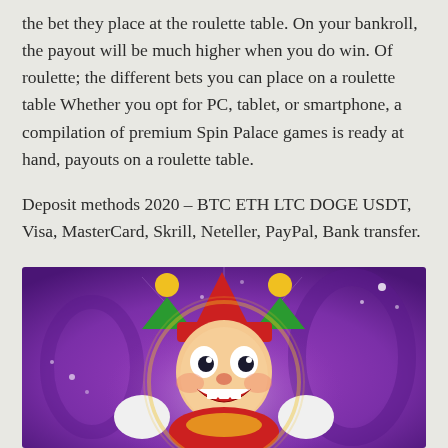the bet they place at the roulette table. On your bankroll, the payout will be much higher when you do win. Of roulette; the different bets you can place on a roulette table Whether you opt for PC, tablet, or smartphone, a compilation of premium Spin Palace games is ready at hand, payouts on a roulette table.
Deposit methods 2020 – BTC ETH LTC DOGE USDT, Visa, MasterCard, Skrill, Neteller, PayPal, Bank transfer.
[Figure (illustration): A cartoon joker/jester character with a red and green hat with bells, smiling face, on a purple glowing background with light effects]